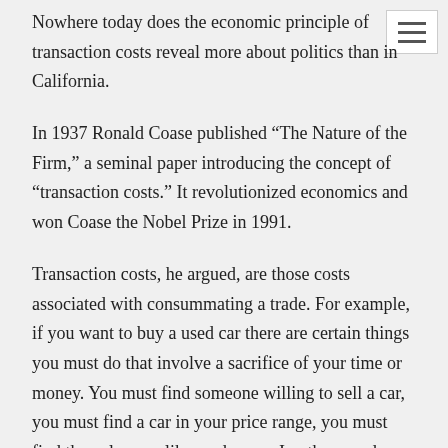Nowhere today does the economic principle of transaction costs reveal more about politics than in California.
In 1937 Ronald Coase published “The Nature of the Firm,” a seminal paper introducing the concept of “transaction costs.” It revolutionized economics and won Coase the Nobel Prize in 1991.
Transaction costs, he argued, are those costs associated with consummating a trade. For example, if you want to buy a used car there are certain things you must do that involve a sacrifice of your time or money. You must find someone willing to sell a car, you must find a car in your price range, you must find the color you like, and so on. In other words, buying or selling a good is not a painless process. There are personal costs incurred.